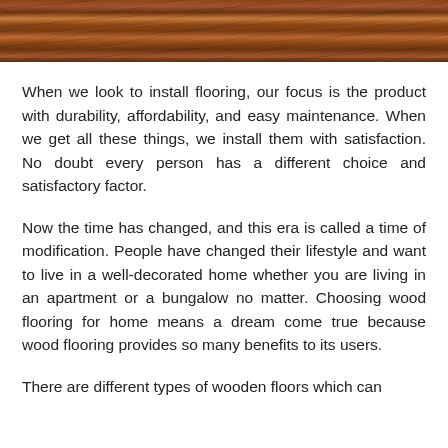[Figure (photo): Wooden floor planks photographed from above, showing warm brown tones with wood grain texture, used as a decorative header image.]
When we look to install flooring, our focus is the product with durability, affordability, and easy maintenance. When we get all these things, we install them with satisfaction. No doubt every person has a different choice and satisfactory factor.
Now the time has changed, and this era is called a time of modification. People have changed their lifestyle and want to live in a well-decorated home whether you are living in an apartment or a bungalow no matter. Choosing wood flooring for home means a dream come true because wood flooring provides so many benefits to its users.
There are different types of wooden floors which can